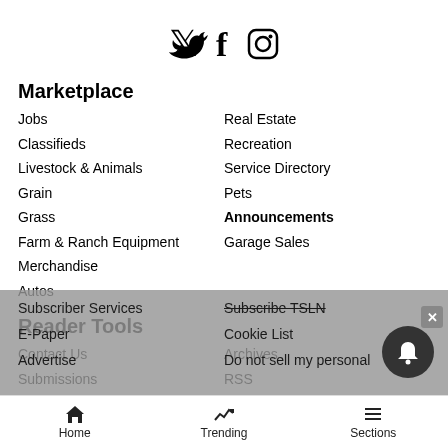[Figure (infographic): Social media icons: Twitter bird, Facebook f, Instagram camera outline]
Marketplace
Jobs
Real Estate
Classifieds
Recreation
Livestock & Animals
Service Directory
Grain
Pets
Grass
Announcements
Farm & Ranch Equipment
Garage Sales
Merchandise
Autos
Reader Tools
Contact Us
Archives
Submissions
RSS
Subscriber Services
Subscribe TSLN
E-Paper
Cookie List
Advertise
Do not sell my personal
Home   Trending   Sections